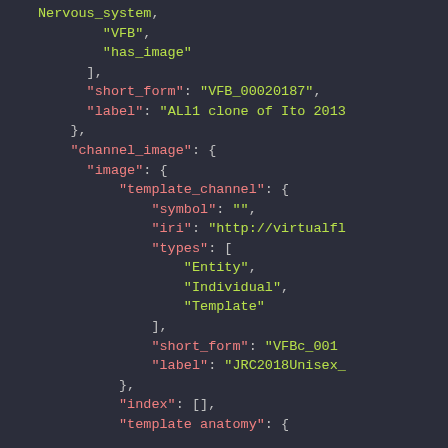[Figure (screenshot): Code editor screenshot showing JSON data structure with syntax highlighting. Dark background (#2b2d3a). Keys in pink/salmon, string values in yellow-green, punctuation in light gray. Shows nested JSON with fields: Nervous_system, VFB, has_image, short_form: VFB_00020187, label: ALl1 clone of Ito 2013, channel_image object containing image object with template_channel object having symbol, iri, types array (Entity, Individual, Template), short_form: VFBc_001..., label: JRC2018Unisex_, closing brace, index: [], template anatomy: {]